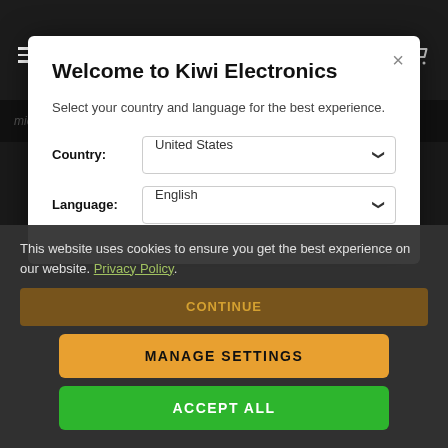[Figure (screenshot): Kiwi Electronics website header with hamburger menu, logo, search icon, and cart icon on dark background]
Welcome to Kiwi Electronics
Select your country and language for the best experience.
Country: United States
Language: English
This website uses cookies to ensure you get the best experience on our website. Privacy Policy.
CONTINUE
MANAGE SETTINGS
ACCEPT ALL